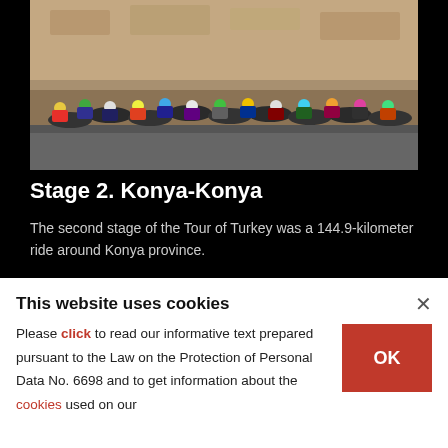[Figure (photo): A large group of cyclists racing closely together during Stage 2 of the Tour of Turkey, with a rocky hillside in the background.]
Stage 2. Konya-Konya
The second stage of the Tour of Turkey was a 144.9-kilometer ride around Konya province.
AA PHOTO
[Figure (infographic): Social share icons: Twitter bird, Facebook F, and Pinterest P icons arranged horizontally.]
This website uses cookies
Please click to read our informative text prepared pursuant to the Law on the Protection of Personal Data No. 6698 and to get information about the cookies used on our